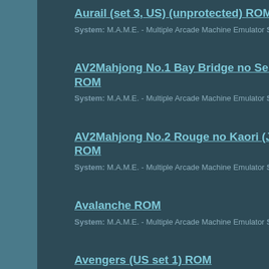Aurail (set 3, US) (unprotected) ROM
System: M.A.M.E. - Multiple Arcade Machine Emulator Size: 1.3M
AV2Mahjong No.1 Bay Bridge no Seijo (Japan) ROM
System: M.A.M.E. - Multiple Arcade Machine Emulator Size: 276K
AV2Mahjong No.2 Rouge no Kaori (Japan) ROM
System: M.A.M.E. - Multiple Arcade Machine Emulator Size: 352K
Avalanche ROM
System: M.A.M.E. - Multiple Arcade Machine Emulator Size: 8.0K
Avengers (US set 1) ROM
System: M.A.M.E. - Multiple Arcade Machine Emulator Size: 352K
Avengers In Galactic Storm (US) ROM
System: M.A.M.E. - Multiple Arcade Machine Emulator Size: 17M